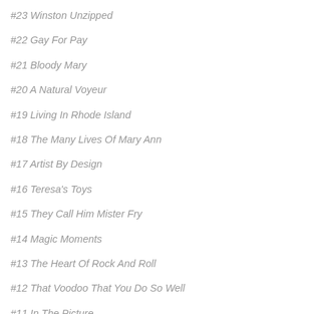#23 Winston Unzipped
#22 Gay For Pay
#21 Bloody Mary
#20 A Natural Voyeur
#19 Living In Rhode Island
#18 The Many Lives Of Mary Ann
#17 Artist By Design
#16 Teresa's Toys
#15 They Call Him Mister Fry
#14 Magic Moments
#13 The Heart Of Rock And Roll
#12 That Voodoo That You Do So Well
#11 In The Picture
#10 Enter Cecil, Stage Right